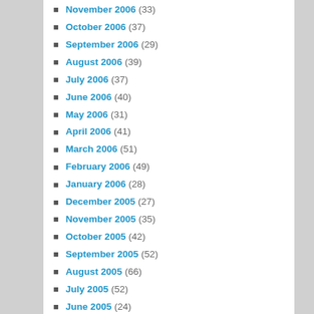October 2006 (37)
September 2006 (29)
August 2006 (39)
July 2006 (37)
June 2006 (40)
May 2006 (31)
April 2006 (41)
March 2006 (51)
February 2006 (49)
January 2006 (28)
December 2005 (27)
November 2005 (35)
October 2005 (42)
September 2005 (52)
August 2005 (66)
July 2005 (52)
June 2005 (24)
May 2005 (48)
April 2005 (49)
March 2005 (51)
February 2005 (53)